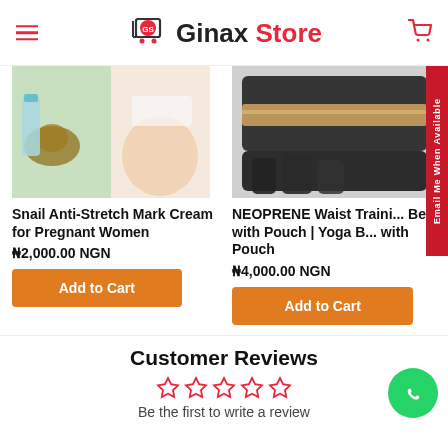Ginax Store
[Figure (photo): Snail Anti-Stretch Mark Cream product image with snail and pregnant woman belly]
Snail Anti-Stretch Mark Cream for Pregnant Women
₦2,000.00 NGN
[Figure (photo): NEOPRENE Waist Training Belt with Pouch / Yoga Belt with Pouch product image]
NEOPRENE Waist Training Belt with Pouch | Yoga Belt with Pouch
₦4,000.00 NGN
Customer Reviews
Be the first to write a review